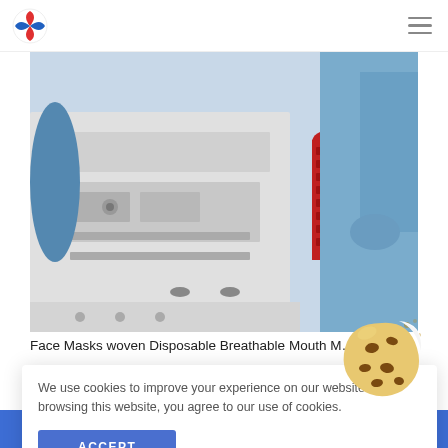[Logo] [Hamburger menu]
[Figure (photo): Worker in blue protective suit operating face mask manufacturing machinery with white and silver industrial equipment and red cylindrical components]
Face Masks woven Disposable Breathable Mouth M…
We use cookies to improve your experience on our website. By browsing this website, you agree to our use of cookies.
ACCEPT
ADD TO CART